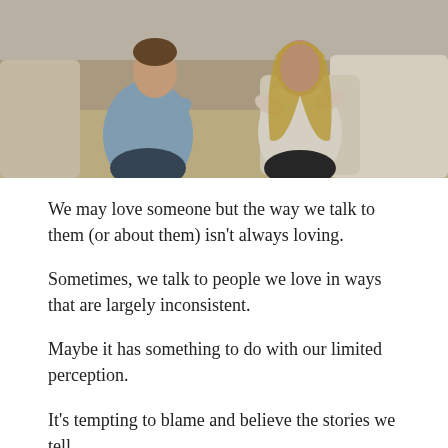[Figure (photo): A couple sitting on a couch facing each other, appearing to be in a conversation or argument. One person in a blue shirt and jeans, the other in a white/cream top with dark pants, with pillows in the background.]
We may love someone but the way we talk to them (or about them) isn't always loving.
Sometimes, we talk to people we love in ways that are largely inconsistent.
Maybe it has something to do with our limited perception.
It's tempting to blame and believe the stories we tell.